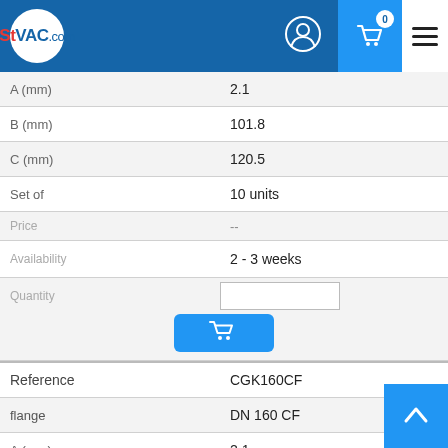[Figure (logo): STVAC.com website header with logo, user icon, cart icon with 0 badge, and hamburger menu]
| Property | Value |
| --- | --- |
| A (mm) | 2.1 |
| B (mm) | 101.8 |
| C (mm) | 120.5 |
| Set of | 10 units |
| Price | -- |
| Availability | 2 - 3 weeks |
| Quantity |  |
| Reference | CGK160CF |
| flange | DN 160 CF |
| A (mm) | 2.1 |
| B (mm) | 152.6 |
| C (mm) | 171.3 |
| Set of | 10 units |
| Price | -- |
| Availability | 2 - 3 weeks |